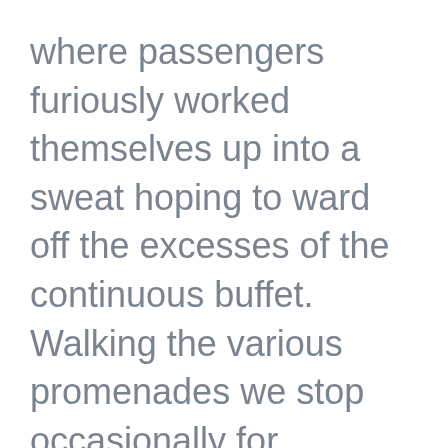where passengers furiously worked themselves up into a sweat hoping to ward off the excesses of the continuous buffet. Walking the various promenades we stop occasionally for shipboard games of shuffle board and quoits all very age appropriate.

The cruise demographic is